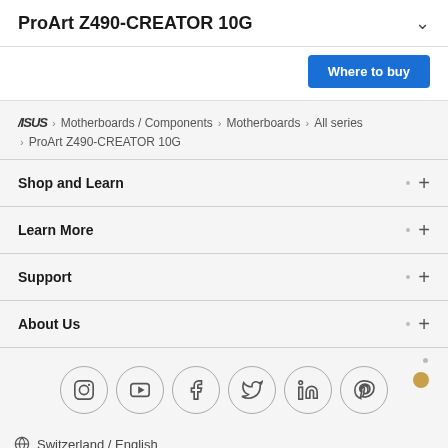ProArt Z490-CREATOR 10G
Where to buy
ASUS > Motherboards / Components > Motherboards > All series > ProArt Z490-CREATOR 10G
Shop and Learn
Learn More
Support
About Us
[Figure (other): Social media icons in circles: Instagram, YouTube, Facebook, Twitter, LinkedIn, Pinterest]
Switzerland / English
Terms of Use  |  Vendors  |  Privacy Policy